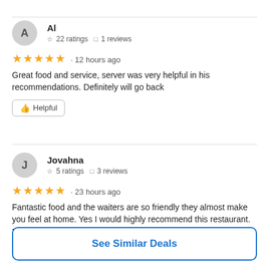Al
☆ 22 ratings  □ 1 reviews
★★★★★ · 12 hours ago
Great food and service, server was very helpful in his recommendations. Definitely will go back
👍 Helpful
Jovahna
☆ 5 ratings  □ 3 reviews
★★★★★ · 23 hours ago
Fantastic food and the waiters are so friendly they almost make you feel at home. Yes I would highly recommend this restaurant. Nice portions for the price atmosphere is comfortable comfortable and again the food is fantastic.
See Similar Deals